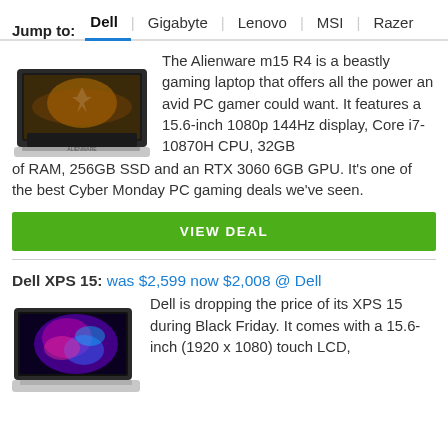Jump to: Dell | Gigabyte | Lenovo | MSI | Razer
[Figure (photo): Alienware m15 R4 gaming laptop, silver, viewed from the front-left angle]
The Alienware m15 R4 is a beastly gaming laptop that offers all the power an avid PC gamer could want. It features a 15.6-inch 1080p 144Hz display, Core i7-10870H CPU, 32GB of RAM, 256GB SSD and an RTX 3060 6GB GPU. It's one of the best Cyber Monday PC gaming deals we've seen.
VIEW DEAL
Dell XPS 15: was $2,599 now $2,008 @ Dell
[Figure (photo): Dell XPS 15 laptop with colorful swirl wallpaper, viewed from the front-left]
Dell is dropping the price of its XPS 15 during Black Friday. It comes with a 15.6-inch (1920 x 1080) touch LCD,